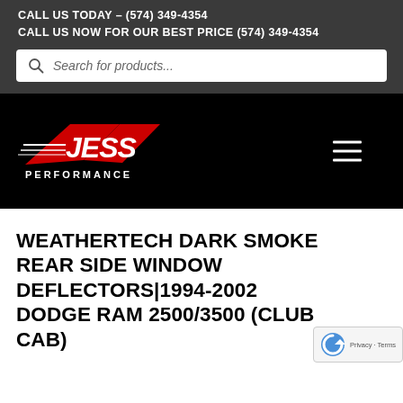CALL US TODAY - (574) 349-4354
CALL US NOW FOR OUR BEST PRICE (574) 349-4354
Search for products...
[Figure (logo): Jess Performance logo — white italic JESS text with red swoosh/chevron graphic and PERFORMANCE text below, on black background]
WEATHERTECH DARK SMOKE REAR SIDE WINDOW DEFLECTORS|1994-2002 DODGE RAM 2500/3500 (CLUB CAB)